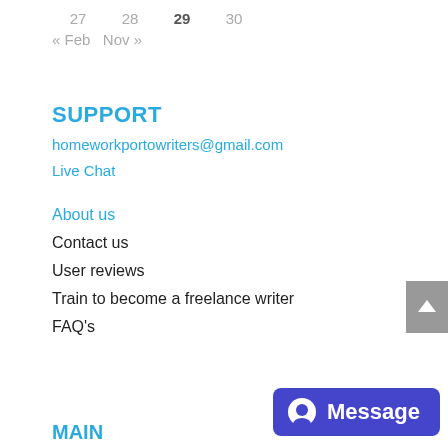27   28   29   30
« Feb   Nov »
SUPPORT
homeworkportowriters@gmail.com
Live Chat
About us
Contact us
User reviews
Train to become a freelance writer
FAQ's
MAIN